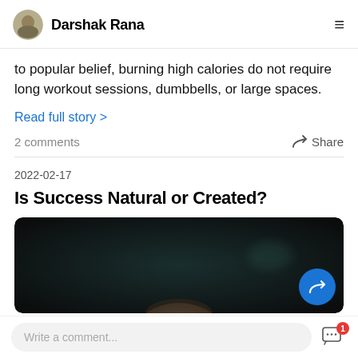Darshak Rana
to popular belief, burning high calories do not require long workout sessions, dumbbells, or large spaces.
Read full story >
2 comments
Share
2022-02-17
Is Success Natural or Created?
[Figure (photo): Dark background photo showing the top of a person's head, with a blue floating action button (share arrow icon) in the bottom right corner]
Write a comment...